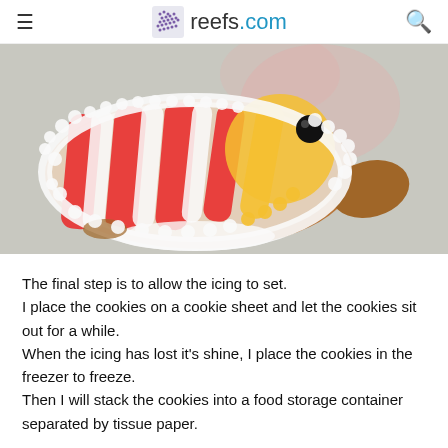reefs.com
[Figure (photo): Close-up of a decorated cookie shaped like a fish or clownfish, with red and white striped frosting, yellow frosting accents, and a black candy eye, on a grey surface.]
The final step is to allow the icing to set.
I place the cookies on a cookie sheet and let the cookies sit out for a while.
When the icing has lost it's shine, I place the cookies in the freezer to freeze.
Then I will stack the cookies into a food storage container separated by tissue paper.